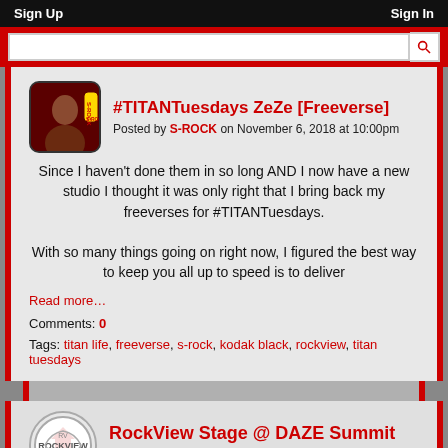Sign Up   Sign In
#TITANTuesdays ZeZe [Freeverse]
Posted by S-ROCK on November 6, 2018 at 10:00pm
Since I haven't done them in so long AND I now have a new studio I thought it was only right that I bring back my freeverses for #TITANTuesdays.

With so many things going on right now, I figured the best way to keep you all up to speed is to deliver
Read more…
Comments: 0
Tags: titan life, freeverse, s-rock, kodak black, rockview, titan tuesdays
RockView Stage @ DAZE Summit 2018 [Recap]